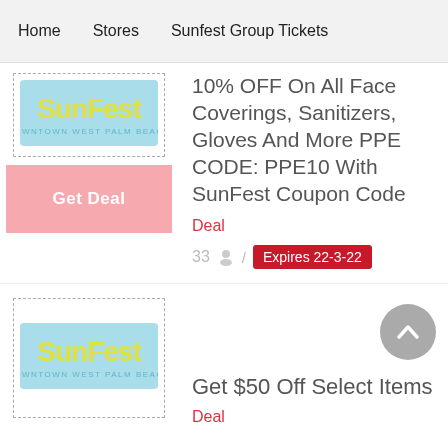Home  Stores  Sunfest Group Tickets
[Figure (logo): SunFest Downtown West Palm Beach logo - yellow/green text on light blue background]
10% OFF On All Face Coverings, Sanitizers, Gloves And More PPE CODE: PPE10 With SunFest Coupon Code
Deal
33 / Expires 22-3-22
Get Deal
[Figure (logo): SunFest Downtown West Palm Beach logo - yellow/green text on light blue background]
Get $50 Off Select Items
Deal